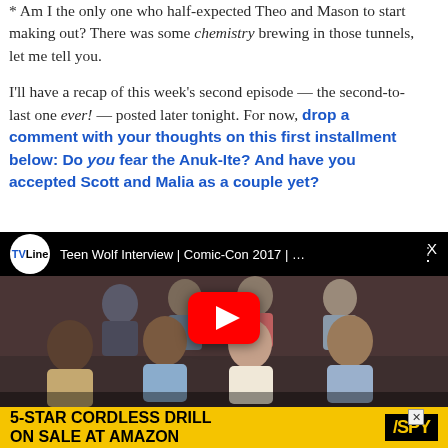* Am I the only one who half-expected Theo and Mason to start making out? There was some chemistry brewing in those tunnels, let me tell you.
I'll have a recap of this week's second episode — the second-to-last one ever! — posted later tonight. For now, drop a comment with your thoughts on this first installment below: Do you fear the Anuk-Ite? And have you accepted Scott and Malia as a couple yet?
[Figure (screenshot): Embedded YouTube video thumbnail showing Teen Wolf Interview | Comic-Con 2017 with TVLine logo and group of cast members, with red play button overlay]
[Figure (other): Advertisement banner: 5-STAR CORDLESS DRILL ON SALE AT AMAZON with SPY logo on yellow background]